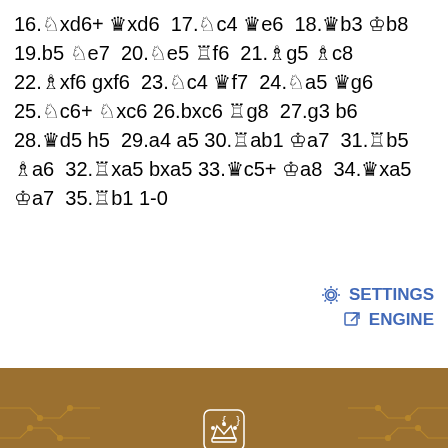16.♘xd6+ ♛xd6 17.♘c4 ♛e6 18.♛b3 ♔b8 19.b5 ♘e7 20.♘e5 ♖f6 21.♗g5 ♗c8 22.♗xf6 gxf6 23.♘c4 ♛f7 24.♘a5 ♛g6 25.♘c6+ ♘xc6 26.bxc6 ♖g8 27.g3 b6 28.♛d5 h5 29.a4 a5 30.♖ab1 ♔a7 31.♖b5 ♗a6 32.♖xa5 bxa5 33.♛c5+ ♔a8 34.♛xa5 ♔a7 35.♖b1 1-0
[Figure (other): Settings icon link and Engine icon link in blue text on right side]
[Figure (infographic): DecodeChess advertisement banner with brown background, circuit board patterns, crown logo, GET THIS GAME EXPLAINED headline in gold, subtitle 'with the most sophisticated AI chess software around', and 'See an example' button]
< Earlier · PAGE 3 OF 3 · Later>
Aug-31-12 Memethecat: Well 32...Rb8 33.Qb5 would've been disastrous, & 32...Qe8 doesn't help black.